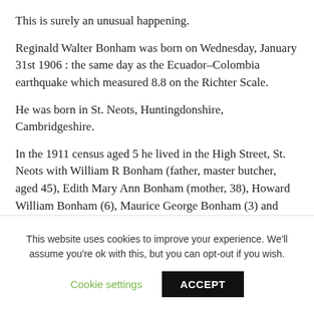This is surely an unusual happening.
Reginald Walter Bonham was born on Wednesday, January 31st 1906 : the same day as the Ecuador–Colombia earthquake which measured 8.8 on the Richter Scale.
He was born in St. Neots, Huntingdonshire, Cambridgeshire.
In the 1911 census aged 5 he lived in the High Street, St. Neots with William R Bonham (father, master butcher, aged 45), Edith Mary Ann Bonham (mother, 38), Howard William Bonham (6), Maurice George Bonham (3) and Ernest Charles Bonham (1). The family had a servant / domestic duties assistant called Elise Annie Goss aged 18. The census did not record any
This website uses cookies to improve your experience. We'll assume you're ok with this, but you can opt-out if you wish.